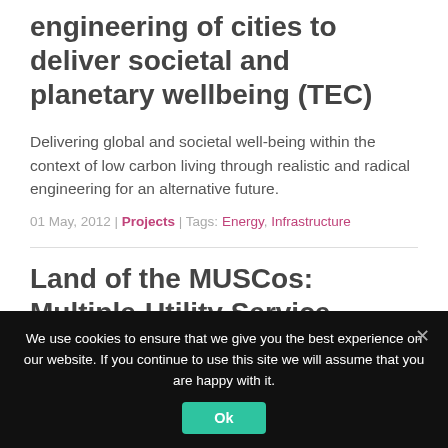engineering of cities to deliver societal and planetary wellbeing (TEC)
Delivering global and societal well-being within the context of low carbon living through realistic and radical engineering for an alternative future.
01 May, 2012 | Projects | Tags: Energy, Infrastructure
Land of the MUSCos: Multiple-Utility Service Companies
We use cookies to ensure that we give you the best experience on our website. If you continue to use this site we will assume that you are happy with it.